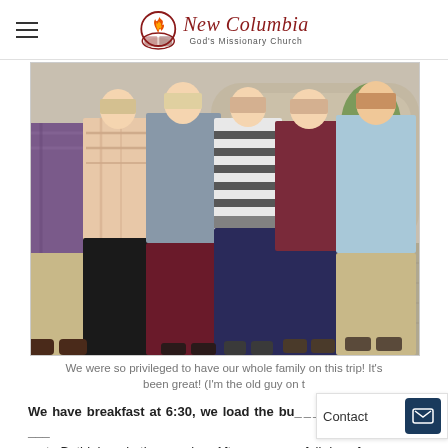New Columbia God's Missionary Church
[Figure (photo): Group of people (family) standing together on a stone plaza/walkway, posing for a photo outdoors. Six individuals visible, wearing casual clothing including plaid shirts, long skirts, and a striped top.]
We were so privileged to have our whole family on this trip! It's been great! (I'm the old guy on t
We have breakfast at 6:30, we load the bu___ ___, ___ th___ ___ go to Bethlehem in the morning. After one more full day of